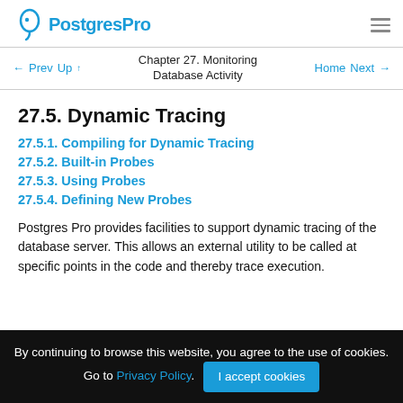PostgresPro
← Prev  Up ↑  Chapter 27. Monitoring Database Activity  Home  Next →
27.5. Dynamic Tracing
27.5.1. Compiling for Dynamic Tracing
27.5.2. Built-in Probes
27.5.3. Using Probes
27.5.4. Defining New Probes
Postgres Pro provides facilities to support dynamic tracing of the database server. This allows an external utility to be called at specific points in the code and thereby trace execution.
By continuing to browse this website, you agree to the use of cookies. Go to Privacy Policy.